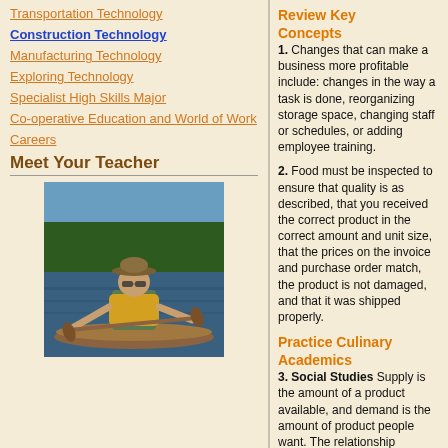Transportation Technology
Construction Technology
Manufacturing Technology
Exploring Technology
Specialist High Skills Major
Co-operative Education and World of Work
Careers
Meet Your Teacher
[Figure (photo): A man in a hat and life vest paddling a canoe on a lake with trees in the background]
Review Key Concepts
1. Changes that can make a business more profitable include: changes in the way a task is done, reorganizing storage space, changing staff or schedules, or adding employee training.
2. Food must be inspected to ensure that quality is as described, that you received the correct product in the correct amount and unit size, that the prices on the invoice and purchase order match, the product is not damaged, and that it was shipped properly.
Practice Culinary Academics
3. Social Studies Supply is the amount of a product available, and demand is the amount of product people want. The relationship between the two is an important figure